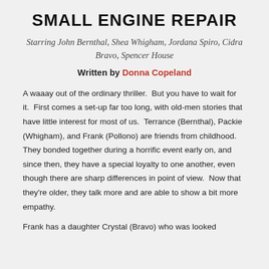SMALL ENGINE REPAIR
Starring John Bernthal, Shea Whigham, Jordana Spiro, Cidra Bravo, Spencer House
Written by Donna Copeland
A waaay out of the ordinary thriller.  But you have to wait for it.  First comes a set-up far too long, with old-men stories that have little interest for most of us.  Terrance (Bernthal), Packie (Whigham), and Frank (Pollono) are friends from childhood.  They bonded together during a horrific event early on, and since then, they have a special loyalty to one another, even though there are sharp differences in point of view.  Now that they're older, they talk more and are able to show a bit more empathy.
Frank has a daughter Crystal (Bravo) who was looked